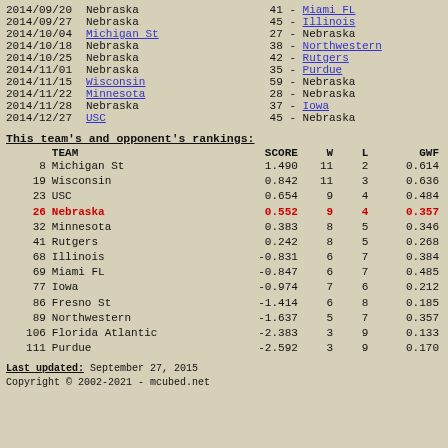2014/09/20  Nebraska              41 - Miami FL
2014/09/27  Nebraska              45 - Illinois
2014/10/04  Michigan St           27 - Nebraska
2014/10/18  Nebraska              38 - Northwestern
2014/10/25  Nebraska              42 - Rutgers
2014/11/01  Nebraska              35 - Purdue
2014/11/15  Wisconsin             59 - Nebraska
2014/11/22  Minnesota             28 - Nebraska
2014/11/28  Nebraska              37 - Iowa
2014/12/27  USC                   45 - Nebraska
This team's and opponent's rankings:
|  | TEAM | SCORE | W | L | GWF |
| --- | --- | --- | --- | --- | --- |
| 8 | Michigan St | 1.490 | 11 | 2 | 0.614 |
| 19 | Wisconsin | 0.842 | 11 | 3 | 0.636 |
| 23 | USC | 0.654 | 9 | 4 | 0.484 |
| 26 | Nebraska | 0.552 | 9 | 4 | 0.357 |
| 32 | Minnesota | 0.383 | 8 | 5 | 0.346 |
| 41 | Rutgers | 0.242 | 8 | 5 | 0.268 |
| 68 | Illinois | -0.831 | 6 | 7 | 0.384 |
| 69 | Miami FL | -0.847 | 6 | 7 | 0.485 |
| 77 | Iowa | -0.974 | 7 | 6 | 0.212 |
| 86 | Fresno St | -1.414 | 6 | 8 | 0.185 |
| 89 | Northwestern | -1.637 | 5 | 7 | 0.357 |
| 106 | Florida Atlantic | -2.383 | 3 | 9 | 0.133 |
| 111 | Purdue | -2.592 | 3 | 9 | 0.170 |
Last updated: September 27, 2015
Copyright © 2002-2021 - mcubed.net